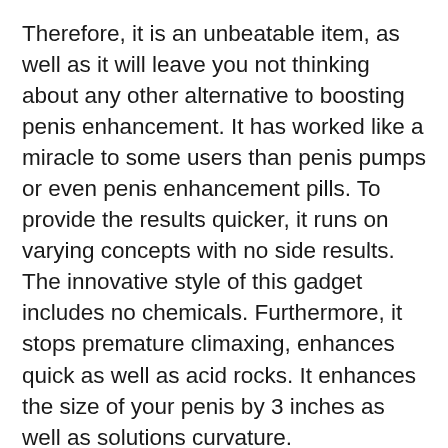Therefore, it is an unbeatable item, as well as it will leave you not thinking about any other alternative to boosting penis enhancement. It has worked like a miracle to some users than penis pumps or even penis enhancement pills. To provide the results quicker, it runs on varying concepts with no side results. The innovative style of this gadget includes no chemicals. Furthermore, it stops premature climaxing, enhances quick as well as acid rocks. It enhances the size of your penis by 3 inches as well as solutions curvature.
Stats from research performed show that this tool can improve the penis size maximally. I additionally assist to figure out the gravity of enjoyment. In old ages, the penis size…